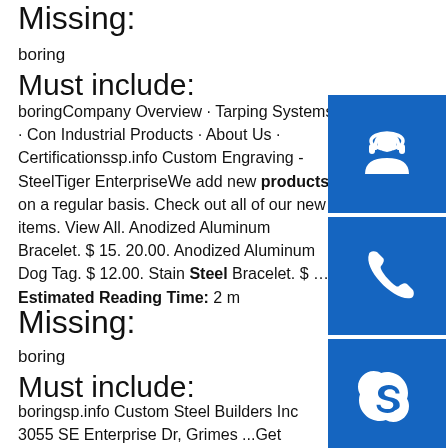Missing:
boring
Must include:
boringCompany Overview · Tarping Systems · Con Industrial Products · About Us · Certificationssp.info Custom Engraving - SteelTiger EnterpriseWe add new products on a regular basis. Check out all of our new items. View All. Anodized Aluminum Bracelet. $ 15. 20.00. Anodized Aluminum Dog Tag. $ 12.00. Stainless Steel Bracelet. $ ...Estimated Reading Time: 2 m
Missing:
boring
Must include:
boringsp.info Custom Steel Builders Inc 3055 SE Enterprise Dr, Grimes ...Get reviews, hours, directions, coupons and more for Custom Steel Builders Inc at 3055 SE Enterprise Dr, Grimes, IA 50111. Search for other